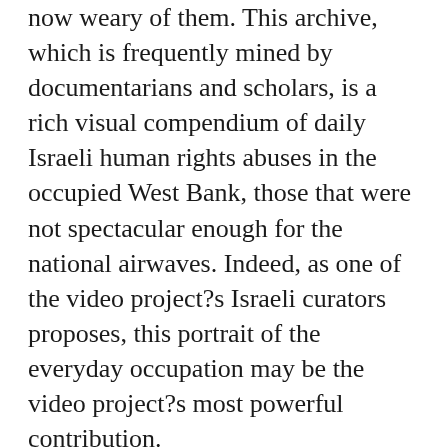now weary of them. This archive, which is frequently mined by documentarians and scholars, is a rich visual compendium of daily Israeli human rights abuses in the occupied West Bank, those that were not spectacular enough for the national airwaves. Indeed, as one of the video project?s Israeli curators proposes, this portrait of the everyday occupation may be the video project?s most powerful contribution.
Author?s Note:?Many thanks to my colleagues at B?Tselem for their generous collaboration with this research project. This project was made possible with the assistance of the Wenner-Gren Foundation.
Editor's Note:?Hide in crowd? think again? http://ow.ly/pimOU?Pic@2100MP! Fixing on